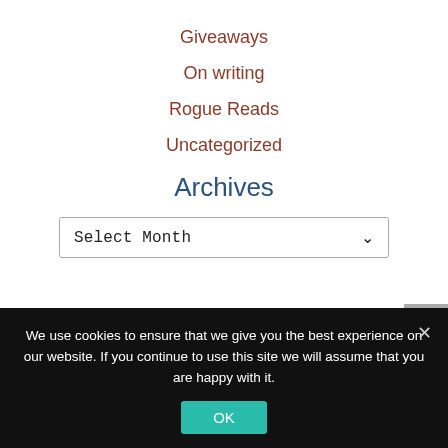Giveaways
On writing
Rogue Reads
Uncategorized
Archives
Select Month
← SHANE GERICKE GOES ROGUE -- FIRST
We use cookies to ensure that we give you the best experience on our website. If you continue to use this site we will assume that you are happy with it.
OK